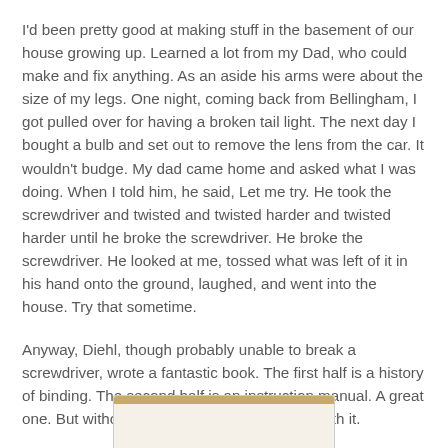I'd been pretty good at making stuff in the basement of our house growing up. Learned a lot from my Dad, who could make and fix anything. As an aside his arms were about the size of my legs. One night, coming back from Bellingham, I got pulled over for having a broken tail light. The next day I bought a bulb and set out to remove the lens from the car. It wouldn't budge. My dad came home and asked what I was doing. When I told him, he said, Let me try. He took the screwdriver and twisted and twisted harder and twisted harder until he broke the screwdriver. He broke the screwdriver. He looked at me, tossed what was left of it in his hand onto the ground, laughed, and went into the house. Try that sometime.
Anyway, Diehl, though probably unable to break a screwdriver, wrote a fantastic book. The first half is a history of binding. The second half is an instruction manual. A great one. But without any context, I got nowhere with it.
[Figure (illustration): Partial view of a book cover, tan/beige colored with a decorative strip at the top, partially cropped at the bottom of the page.]